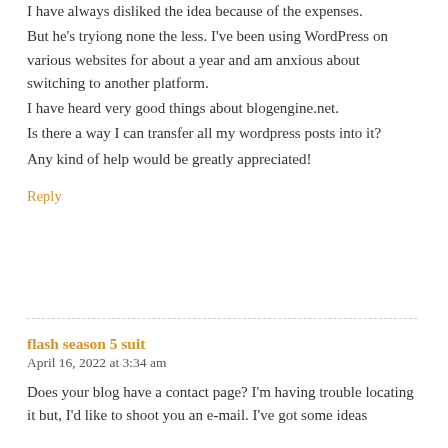I have always disliked the idea because of the expenses. But he's tryiong none the less. I've been using WordPress on various websites for about a year and am anxious about switching to another platform. I have heard very good things about blogengine.net. Is there a way I can transfer all my wordpress posts into it? Any kind of help would be greatly appreciated!
Reply
flash season 5 suit
April 16, 2022 at 3:34 am
Does your blog have a contact page? I'm having trouble locating it but, I'd like to shoot you an e-mail. I've got some ideas